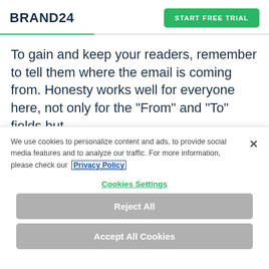BRAND24
START FREE TRIAL
To gain and keep your readers, remember to tell them where the email is coming from. Honesty works well for everyone here, not only for the “From” and “To” fields but
We use cookies to personalize content and ads, to provide social media features and to analyze our traffic. For more information, please check our Privacy Policy
Cookies Settings
Reject All
Accept All Cookies